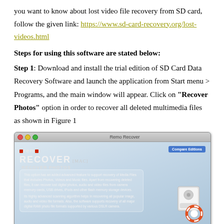you want to know about lost video file recovery from SD card, follow the given link: https://www.sd-card-recovery.org/lost-videos.html
Steps for using this software are stated below:
Step 1: Download and install the trial edition of SD Card Data Recovery Software and launch the application from Start menu > Programs, and the main window will appear. Click on "Recover Photos" option in order to recover all deleted multimedia files as shown in Figure 1
[Figure (screenshot): Screenshot of Remo Recover (Mac) application showing the RECOVER PHOTOS option with description text about recovering media files including photos, videos and music files. Interface has a blue gradient background with white panel and hard drive icon with recovery symbol.]